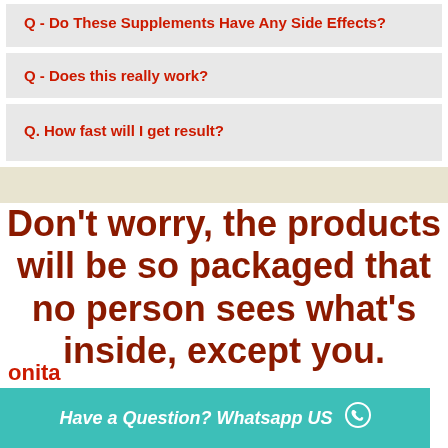Q - Do These Supplements Have Any Side Effects?
Q - Does this really work?
Q. How fast will I get result?
Don't worry, the products will be so packaged that no person sees what's inside, except you.
Have a Question? Whatsapp US